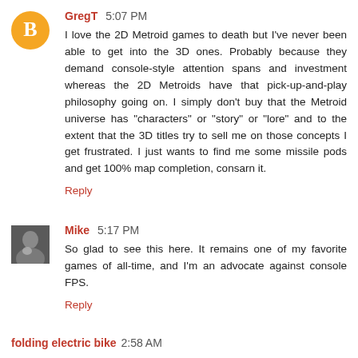GregT 5:07 PM
I love the 2D Metroid games to death but I've never been able to get into the 3D ones. Probably because they demand console-style attention spans and investment whereas the 2D Metroids have that pick-up-and-play philosophy going on. I simply don't buy that the Metroid universe has "characters" or "story" or "lore" and to the extent that the 3D titles try to sell me on those concepts I get frustrated. I just wants to find me some missile pods and get 100% map completion, consarn it.
Reply
Mike 5:17 PM
So glad to see this here. It remains one of my favorite games of all-time, and I'm an advocate against console FPS.
Reply
folding electric bike 2:58 AM